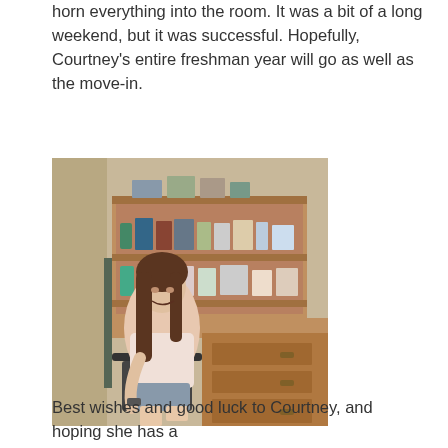horn everything into the room. It was a bit of a long weekend, but it was successful. Hopefully, Courtney's entire freshman year will go as well as the move-in.
[Figure (photo): A young woman with long brown hair sits smiling in a chair at a wooden dorm desk. Behind her is a wooden bookshelf unit filled with supplies, bottles, and personal items. Photos sit on top of the shelf.]
Best wishes and good luck to Courtney, and hoping she has a